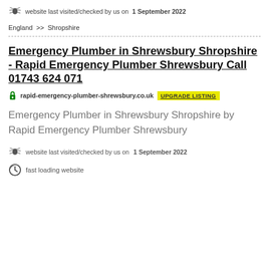website last visited/checked by us on 1 September 2022
England >> Shropshire
Emergency Plumber in Shrewsbury Shropshire - Rapid Emergency Plumber Shrewsbury Call 01743 624 071
rapid-emergency-plumber-shrewsbury.co.uk   UPGRADE LISTING
Emergency Plumber in Shrewsbury Shropshire by Rapid Emergency Plumber Shrewsbury
website last visited/checked by us on 1 September 2022
fast loading website